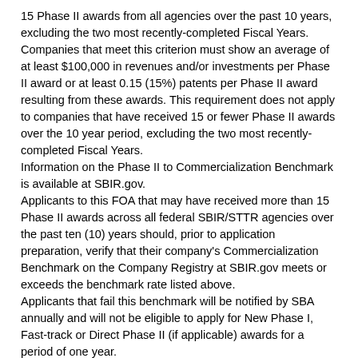15 Phase II awards from all agencies over the past 10 years, excluding the two most recently-completed Fiscal Years. Companies that meet this criterion must show an average of at least $100,000 in revenues and/or investments per Phase II award or at least 0.15 (15%) patents per Phase II award resulting from these awards. This requirement does not apply to companies that have received 15 or fewer Phase II awards over the 10 year period, excluding the two most recently-completed Fiscal Years.
Information on the Phase II to Commercialization Benchmark is available at SBIR.gov.
Applicants to this FOA that may have received more than 15 Phase II awards across all federal SBIR/STTR agencies over the past ten (10) years should, prior to application preparation, verify that their company's Commercialization Benchmark on the Company Registry at SBIR.gov meets or exceeds the benchmark rate listed above.
Applicants that fail this benchmark will be notified by SBA annually and will not be eligible to apply for New Phase I, Fast-track or Direct Phase II (if applicable) awards for a period of one year.
Foreign Institutions
Non-domestic (non-U.S.) Entities (Foreign Institutions) are not eligible to apply.
Non-domestic (non-U.S.) components of U.S. Organizations are not eligible to apply.